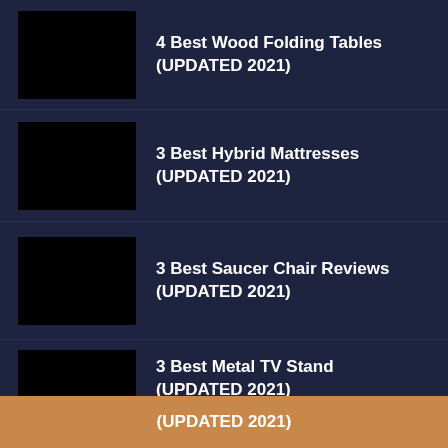4 Best Wood Folding Tables (UPDATED 2021)
3 Best Hybrid Mattresses (UPDATED 2021)
3 Best Saucer Chair Reviews (UPDATED 2021)
3 Best Metal TV Stand (UPDATED 2021)